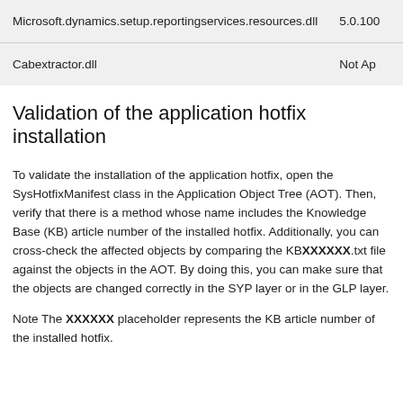| File name | Version |
| --- | --- |
| Microsoft.dynamics.setup.reportingservices.resources.dll | 5.0.100 |
| Cabextractor.dll | Not Ap |
Validation of the application hotfix installation
To validate the installation of the application hotfix, open the SysHotfixManifest class in the Application Object Tree (AOT). Then, verify that there is a method whose name includes the Knowledge Base (KB) article number of the installed hotfix. Additionally, you can cross-check the affected objects by comparing the KBXXXXXX.txt file against the objects in the AOT. By doing this, you can make sure that the objects are changed correctly in the SYP layer or in the GLP layer.
Note The XXXXXX placeholder represents the KB article number of the installed hotfix.